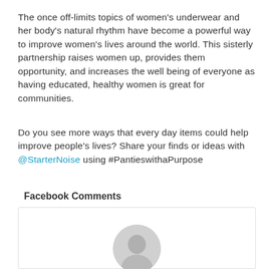The once off-limits topics of women's underwear and her body's natural rhythm have become a powerful way to improve women's lives around the world. This sisterly partnership raises women up, provides them opportunity, and increases the well being of everyone as having educated, healthy women is great for communities.
Do you see more ways that every day items could help improve people's lives? Share your finds or ideas with @StarterNoise using #PantieswithaPurpose
Facebook Comments
[Figure (photo): Facebook comments box with a circular avatar photo of a person]